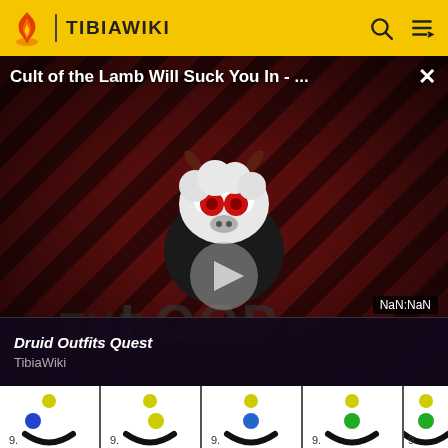TIBIAWIKI
[Figure (screenshot): Video overlay showing 'Cult of the Lamb Will Suck You In - ...' with diagonal red/dark stripe background, cartoon lamb character with horns and red eyes, play button in center, 'THE LOOP' text watermark, NaN:NaN timestamp, and bottom bar showing 'Druid Outfits Quest' / 'TibiaWiki']
[Figure (screenshot): Row of 5 game item thumbnails at the bottom showing circular dot icons with black U-shapes on white backgrounds, each labeled with '9.']